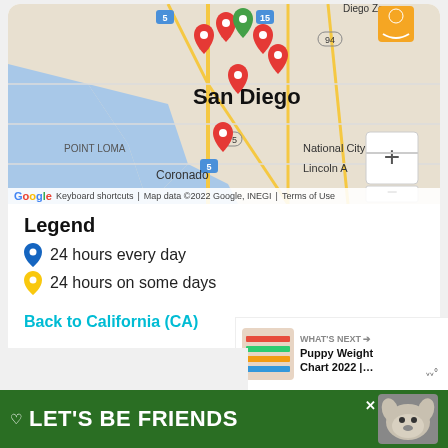[Figure (map): Google Map of San Diego area showing Point Loma, Coronado, National City, Lincoln A, San Diego Zoo area with multiple red and green map pins. Zoom controls (+/-) visible on right side. Map data ©2022 Google, INEGI.]
Legend
24 hours every day
24 hours on some days
Back to California (CA)
Show where I a…
[Figure (screenshot): WHAT'S NEXT arrow. Puppy Weight Chart 2022 |… with thumbnail showing chart/book image]
LET'S BE FRIENDS
[Figure (photo): Dog photo (husky) in advertisement banner]